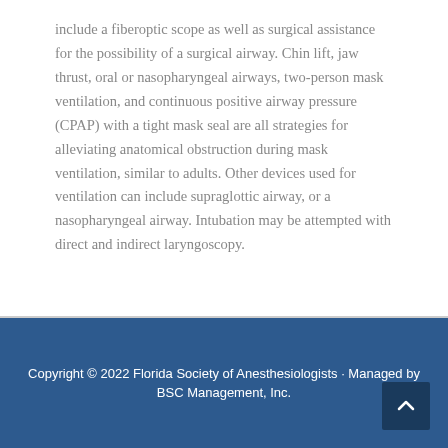include a fiberoptic scope as well as surgical assistance for the possibility of a surgical airway. Chin lift, jaw thrust, oral or nasopharyngeal airways, two-person mask ventilation, and continuous positive airway pressure (CPAP) with a tight mask seal are all strategies for alleviating anatomical obstruction during mask ventilation, similar to adults. Other devices used for ventilation can include supraglottic airway, or a nasopharyngeal airway. Intubation may be attempted with direct and indirect laryngoscopy.
Copyright © 2022 Florida Society of Anesthesiologists · Managed by BSC Management, Inc.